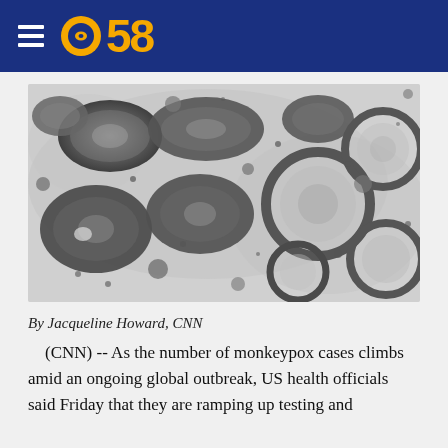CBS 58
[Figure (photo): Electron microscope image of monkeypox virus particles, showing oval and round dark viral particles against a light background]
By Jacqueline Howard, CNN
(CNN) -- As the number of monkeypox cases climbs amid an ongoing global outbreak, US health officials said Friday that they are ramping up testing and